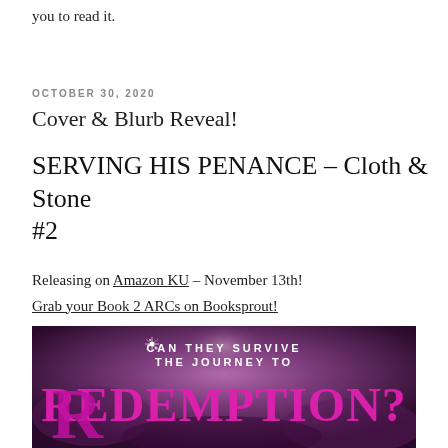you to read it.
OCTOBER 30, 2020
Cover & Blurb Reveal!
SERVING HIS PENANCE – Cloth & Stone #2
Releasing on Amazon KU – November 13th!
Grab your Book 2 ARCs on Booksprout!
[Figure (illustration): Book banner image with dark purple/magenta sky and text reading 'CAN THEY SURVIVE THE JOURNEY TO REDEMPTION?' in decorative lettering]